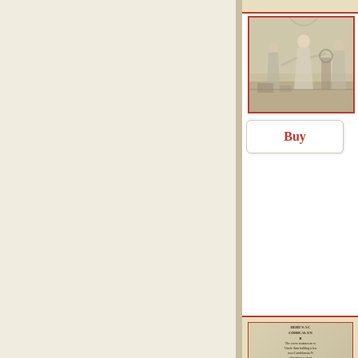[Figure (photo): Historical illustration showing figures in period costume, partially visible on right side of page]
Buy
[Figure (photo): Bottom section showing another historical image with text overlay reading: HERE'S A C... COMICAL UN... B... The cover features an w... Uncle Sam holding a lea... over Candelansia Pr... plantation scelens... The Text b... Through so... Old Uncle Su... Excess, m... Of its leadi...]